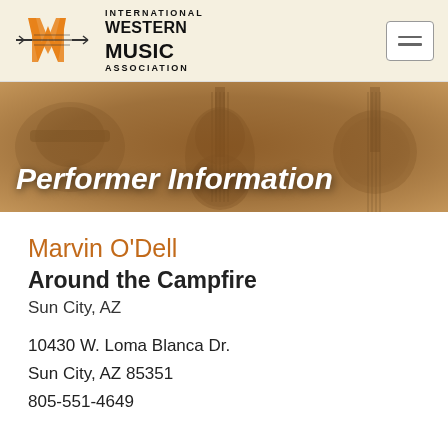[Figure (logo): International Western Music Association logo with orange W/M emblem and horizontal lines]
[Figure (illustration): Banner with western/cowboy instrument sketches (guitar, saddle, banjo) in sepia tones]
Performer Information
Marvin O'Dell
Around the Campfire
Sun City, AZ
10430 W. Loma Blanca Dr.
Sun City, AZ 85351
805-551-4649